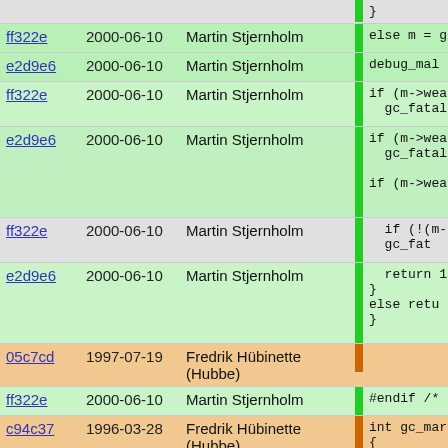| Hash | Date | Author |  | Code |
| --- | --- | --- | --- | --- |
|  |  |  |  | } |
| ff322e | 2000-06-10 | Martin Stjernholm |  | else m = g |
| e2d9e6 | 2000-06-10 | Martin Stjernholm |  | debug_mal |
| ff322e | 2000-06-10 | Martin Stjernholm |  | if (m->wea
  gc_fatal |
| e2d9e6 | 2000-06-10 | Martin Stjernholm |  | if (m->wea
  gc_fatal

if (m->wea |
| ff322e | 2000-06-10 | Martin Stjernholm |  | if (!(m-
  gc_fat |
| e2d9e6 | 2000-06-10 | Martin Stjernholm |  | return 1
}
else retu
} |
| 05c7cd | 1997-07-19 | Fredrik Hübinette (Hubbe) |  |  |
| ff322e | 2000-06-10 | Martin Stjernholm |  | #endif /* P |
| c94c37 | 1996-03-28 | Fredrik Hübinette (Hubbe) |  | int gc_mark
{
  struct mar |
| 87c7f9 | 2000-04-19 | Martin Stjernholm |  | #ifdef PIKE |